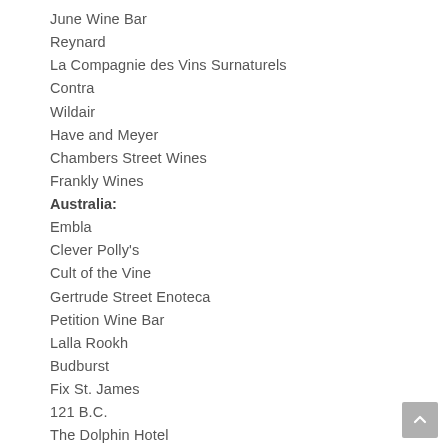June Wine Bar
Reynard
La Compagnie des Vins Surnaturels
Contra
Wildair
Have and Meyer
Chambers Street Wines
Frankly Wines
Australia:
Embla
Clever Polly's
Cult of the Vine
Gertrude Street Enoteca
Petition Wine Bar
Lalla Rookh
Budburst
Fix St. James
121 B.C.
The Dolphin Hotel
Love Tilly Devine
East End Cellars
La Buvette
Mother Vine
Lost in a Forest
The Summertown Aristologist